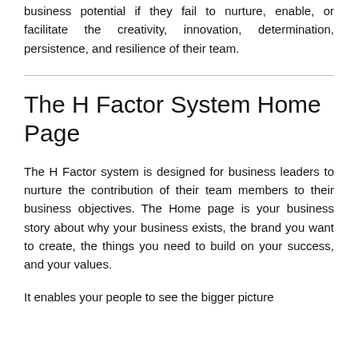business potential if they fail to nurture, enable, or facilitate the creativity, innovation, determination, persistence, and resilience of their team.
The H Factor System Home Page
The H Factor system is designed for business leaders to nurture the contribution of their team members to their business objectives. The Home page is your business story about why your business exists, the brand you want to create, the things you need to build on your success, and your values.
It enables your people to see the bigger picture